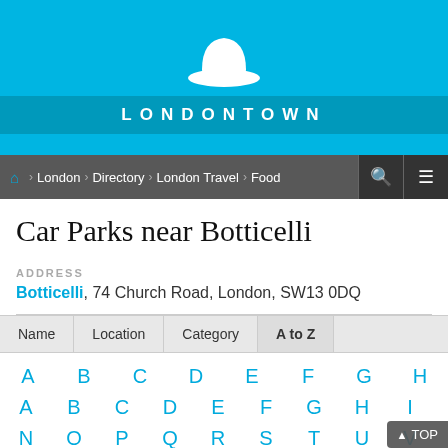[Figure (logo): LondonTown white bowler hat logo on cyan/blue background with LONDONTOWN text below]
London > Directory > London Travel > Food
Car Parks near Botticelli
ADDRESS
Botticelli, 74 Church Road, London, SW13 0DQ
| Name | Location | Category | A to Z |
| --- | --- | --- | --- |
A B C D E F G H I J K L
N O P Q R S T U V W X Y Z